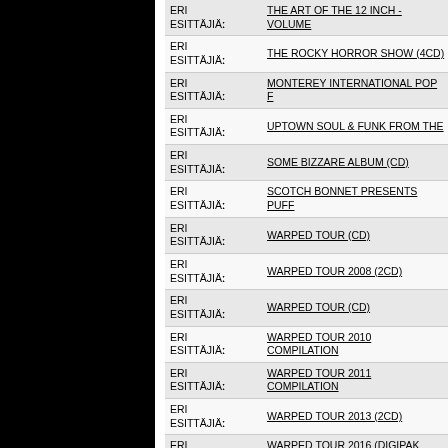| Artist | Title |
| --- | --- |
| ERI ESITTÄJIÄː | THE ART OF THE 12 INCH - VOLUME |
| ERI ESITTÄJIÄː | THE ROCKY HORROR SHOW (4CD) |
| ERI ESITTÄJIÄː | MONTEREY INTERNATIONAL POP F |
| ERI ESITTÄJIÄː | UPTOWN SOUL & FUNK FROM THE |
| ERI ESITTÄJIÄː | SOME BIZZARE ALBUM (CD) |
| ERI ESITTÄJIÄː | SCOTCH BONNET PRESENTS PUFF |
| ERI ESITTÄJIÄː | WARPED TOUR (CD) |
| ERI ESITTÄJIÄː | WARPED TOUR 2008 (2CD) |
| ERI ESITTÄJIÄː | WARPED TOUR (CD) |
| ERI ESITTÄJIÄː | WARPED TOUR 2010 COMPILATION |
| ERI ESITTÄJIÄː | WARPED TOUR 2011 COMPILATION |
| ERI ESITTÄJIÄː | WARPED TOUR 2013 (2CD) |
| ERI ESITTÄJIÄː | WARPED TOUR 2016 (DIGIPAK 2CD) |
| ERI ESITTÄJIÄː | WARPED TOUR 2018 (2CD) |
| ERI ESITTÄJIÄː | SIGNATURE DARK REMIXES (2LP) |
| ERI ESITTÄJIÄː | WESTBOUND DISCO (2LP) |
| ERI ESITTÄJIÄː | WESTBOUND SUPER BREAKS (2LP) |
| ERI ESITTÄJIÄː | GUITARS OF THE GOLDEN TRIANGLE (2LP) |